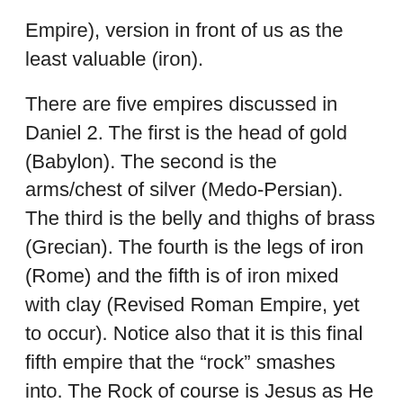Empire), version in front of us as the least valuable (iron).
There are five empires discussed in Daniel 2. The first is the head of gold (Babylon). The second is the arms/chest of silver (Medo-Persian). The third is the belly and thighs of brass (Grecian). The fourth is the legs of iron (Rome) and the fifth is of iron mixed with clay (Revised Roman Empire, yet to occur). Notice also that it is this final fifth empire that the “rock” smashes into. The Rock of course is Jesus as He returns to this world and decimates this final kingdom headed by Antichrist (2 Thessalonians 2).
If we consider the fact that throughout history since the Babylonian Empire, we have each of these empires come and go in the exact order that God said they would happen, but we are still waiting on the fifth and final empire to appear. The previous Roman empire was, by all